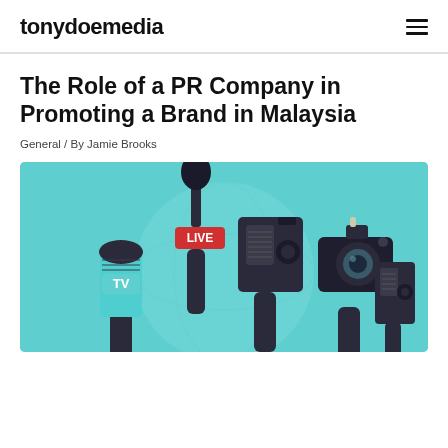tonydoemedia
The Role of a PR Company in Promoting a Brand in Malaysia
General / By Jamie Brooks
[Figure (illustration): Illustration of multiple hands holding media equipment including microphones labeled TV and LIVE, a camera, a recorder, and other press equipment, against a teal/light blue background with a globe silhouette.]